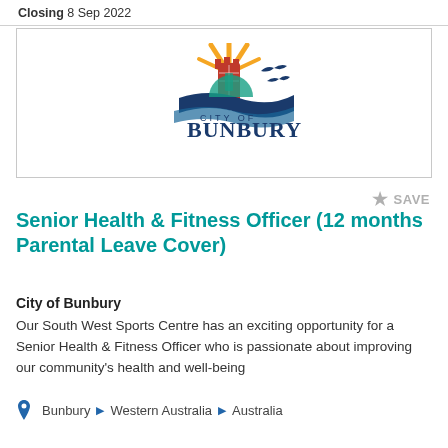Closing: 8 Sep 2022
[Figure (logo): City of Bunbury logo with castle tower, sun rays, birds, and waves. Text reads CITY OF BUNBURY.]
SAVE
Senior Health & Fitness Officer (12 months Parental Leave Cover)
City of Bunbury
Our South West Sports Centre has an exciting opportunity for a Senior Health & Fitness Officer who is passionate about improving our community's health and well-being
Bunbury ▶ Western Australia ▶ Australia